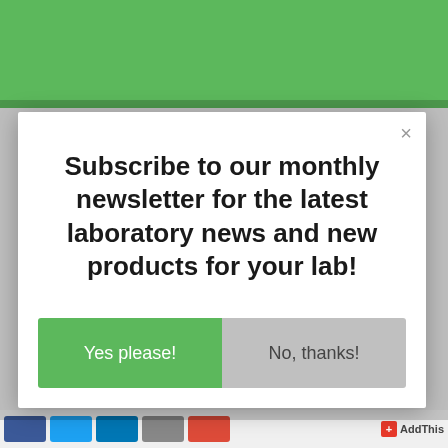LEARN MORE ABOUT ANTYLIA SCIENTIFIC
Subscribe to our monthly newsletter for the latest laboratory news and new products for your lab!
Yes please!
No, thanks!
[Figure (screenshot): AddThis social sharing badge with plus icon and icons for Facebook, Twitter, LinkedIn, email, and Google]
AddThis